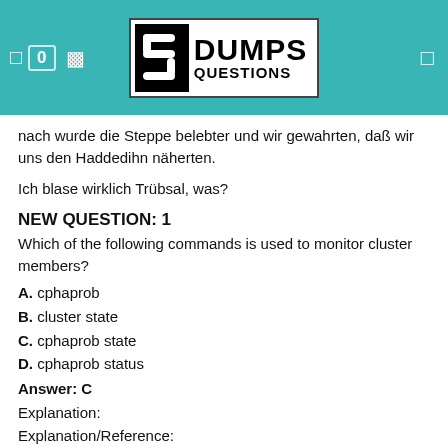DUMPS QUESTIONS
nach wurde die Steppe belebter und wir gewahrten, daß wir uns den Haddedihn näherten.
Ich blase wirklich Trübsal, was?
NEW QUESTION: 1
Which of the following commands is used to monitor cluster members?
A. cphaprob
B. cluster state
C. cphaprob state
D. cphaprob status
Answer: C
Explanation:
Explanation/Reference:
Reference:
http://checkpoint.com/documents/R76/CP_R76_Cl...